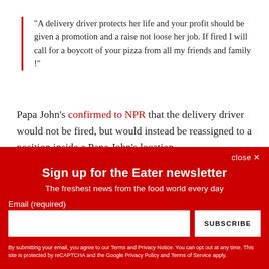"A delivery driver protects her life and your profit should be given a promotion and a raise not loose her job. If fired I will call for a boycott of your pizza from all my friends and family !"
Papa John's confirmed to NPR that the delivery driver would not be fired, but would instead be reassigned to a position inside a Papa John's location.
close ✕
Sign up for the Eater newsletter
The freshest news from the food world every day
Email (required)
SUBSCRIBE
By submitting your email, you agree to our Terms and Privacy Notice. You can opt out at any time. This site is protected by reCAPTCHA and the Google Privacy Policy and Terms of Service apply.